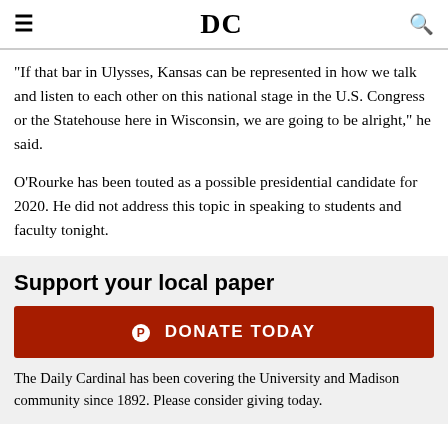DC
"If that bar in Ulysses, Kansas can be represented in how we talk and listen to each other on this national stage in the U.S. Congress or the Statehouse here in Wisconsin, we are going to be alright," he said.
O'Rourke has been touted as a possible presidential candidate for 2020. He did not address this topic in speaking to students and faculty tonight.
Support your local paper
DONATE TODAY
The Daily Cardinal has been covering the University and Madison community since 1892. Please consider giving today.